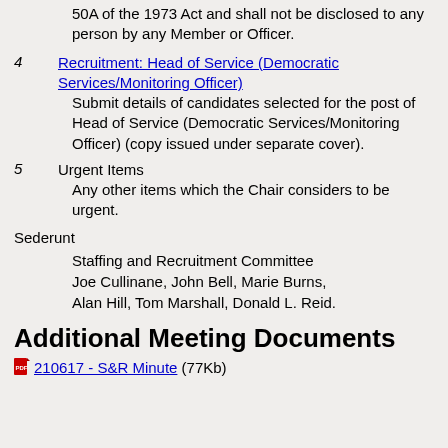50A of the 1973 Act and shall not be disclosed to any person by any Member or Officer.
4  Recruitment: Head of Service (Democratic Services/Monitoring Officer)
Submit details of candidates selected for the post of Head of Service (Democratic Services/Monitoring Officer) (copy issued under separate cover).
5  Urgent Items
Any other items which the Chair considers to be urgent.
Sederunt
Staffing and Recruitment Committee
Joe Cullinane, John Bell, Marie Burns, Alan Hill, Tom Marshall, Donald L. Reid.
Additional Meeting Documents
210617 - S&R Minute (77Kb)